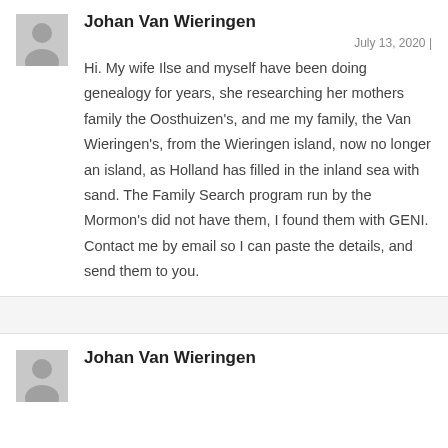Johan Van Wieringen
July 13, 2020 |
Hi. My wife Ilse and myself have been doing genealogy for years, she researching her mothers family the Oosthuizen's, and me my family, the Van Wieringen's, from the Wieringen island, now no longer an island, as Holland has filled in the inland sea with sand. The Family Search program run by the Mormon's did not have them, I found them with GENI. Contact me by email so I can paste the details, and send them to you.
Johan Van Wieringen